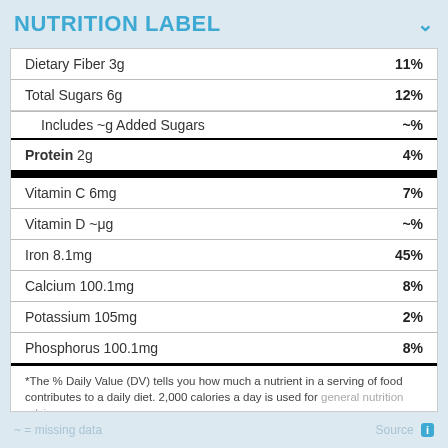NUTRITION LABEL
| Nutrient | % Daily Value |
| --- | --- |
| Dietary Fiber 3g | 11% |
| Total Sugars 6g | 12% |
| Includes ~g Added Sugars | ~% |
| Protein 2g | 4% |
| Vitamin C 6mg | 7% |
| Vitamin D ~μg | ~% |
| Iron 8.1mg | 45% |
| Calcium 100.1mg | 8% |
| Potassium 105mg | 2% |
| Phosphorus 100.1mg | 8% |
*The % Daily Value (DV) tells you how much a nutrient in a serving of food contributes to a daily diet. 2,000 calories a day is used for general nutrition advice.
~ = missing data   Source